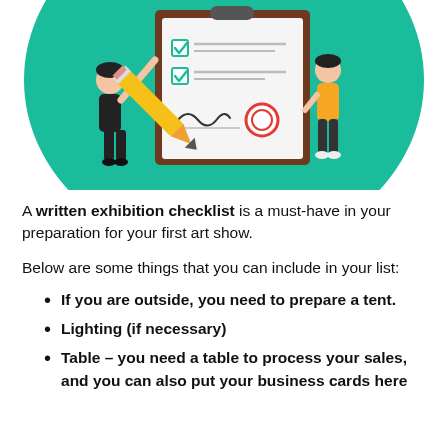[Figure (illustration): Illustration of two cartoon people with a giant pencil filling out a large checklist/clipboard. The background is a teal/green circle. One person wearing black holds the pencil, another in yellow stands on the right side of the board. The clipboard has checkboxes, lines, a signature, and a red stamp/seal.]
A written exhibition checklist is a must-have in your preparation for your first art show.
Below are some things that you can include in your list:
If you are outside, you need to prepare a tent.
Lighting (if necessary)
Table – you need a table to process your sales, and you can also put your business cards here